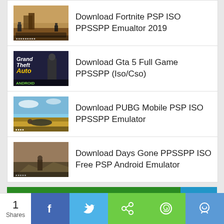Download Fortnite PSP ISO PPSSPP Emualtor 2019
Download Gta 5 Full Game PPSSPP (Iso/Cso)
Download PUBG Mobile PSP ISO PPSSPP Emulator
Download Days Gone PPSSPP ISO Free PSP Android Emulator
BLOGROLL
(90%)